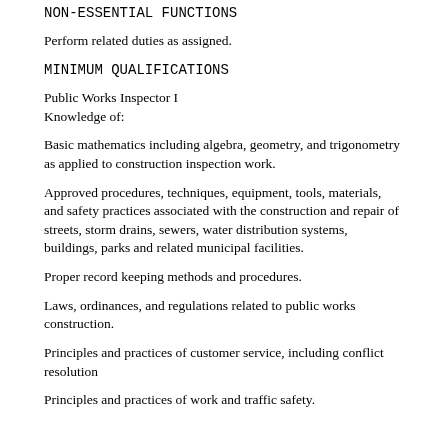NON-ESSENTIAL FUNCTIONS
Perform related duties as assigned.
MINIMUM QUALIFICATIONS
Public Works Inspector I
Knowledge of:
Basic mathematics including algebra, geometry, and trigonometry as applied to construction inspection work.
Approved procedures, techniques, equipment, tools, materials, and safety practices associated with the construction and repair of streets, storm drains, sewers, water distribution systems, buildings, parks and related municipal facilities.
Proper record keeping methods and procedures.
Laws, ordinances, and regulations related to public works construction.
Principles and practices of customer service, including conflict resolution
Principles and practices of work and traffic safety.